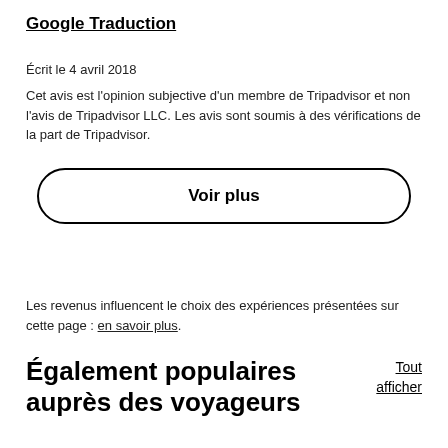Google Traduction
Écrit le 4 avril 2018
Cet avis est l'opinion subjective d'un membre de Tripadvisor et non l'avis de Tripadvisor LLC. Les avis sont soumis à des vérifications de la part de Tripadvisor.
[Figure (other): Button with rounded border containing text 'Voir plus']
Les revenus influencent le choix des expériences présentées sur cette page : en savoir plus.
Également populaires auprès des voyageurs
Tout afficher